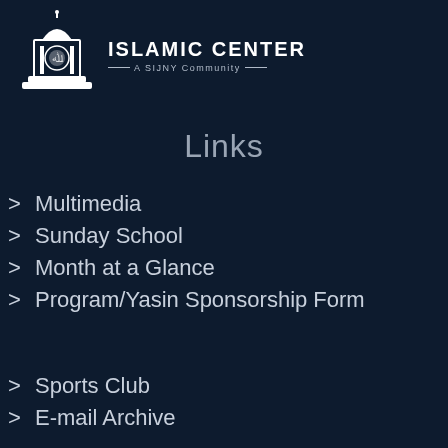[Figure (logo): Islamic Center logo: white architectural/mosque emblem with Arabic calligraphy]
ISLAMIC CENTER
— A SIJNY Community —
Links
> Multimedia
> Sunday School
> Month at a Glance
> Program/Yasin Sponsorship Form
> Sports Club
> E-mail Archive